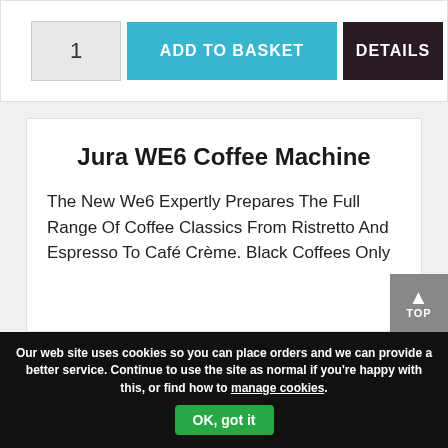1
ADD TO BASKET
DETAILS
Jura WE6 Coffee Machine
The New We6 Expertly Prepares The Full Range Of Coffee Classics From Ristretto And Espresso To Café Crème. Black Coffees Only
TOP
Our web site uses cookies so you can place orders and we can provide a better service. Continue to use the site as normal if you're happy with this, or find how to manage cookies.
OK, got it